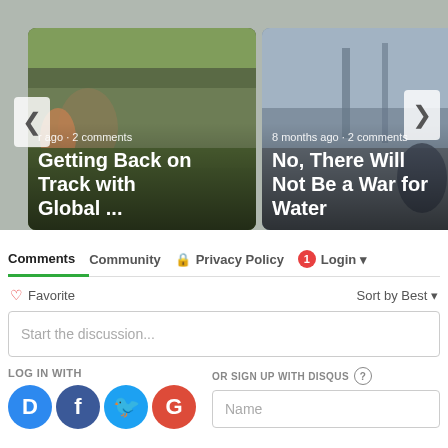[Figure (screenshot): Article card 1: People near a muddy wall with text overlay 'Getting Back on Track with Global ...' and metadata 'r ago · 2 comments']
[Figure (screenshot): Article card 2: Street scene with text overlay 'No, There Will Not Be a War for Water' and metadata '8 months ago · 2 comments']
Comments
Community
Privacy Policy
Login
♡ Favorite
Sort by Best
Start the discussion...
LOG IN WITH
OR SIGN UP WITH DISQUS
Name